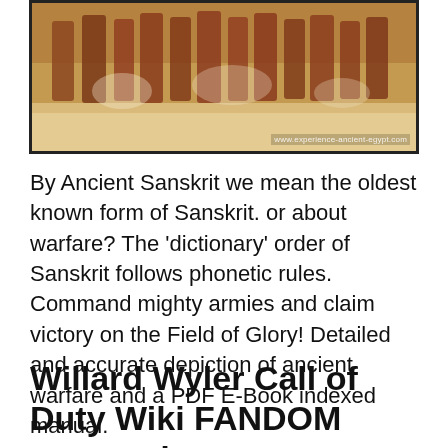[Figure (photo): Ancient Egyptian wall painting or fresco showing a row of figures in robes, possibly soldiers or warriors, with warm sandy/reddish tones. Watermark reads 'www.experience-ancient-egypt.com']
By Ancient Sanskrit we mean the oldest known form of Sanskrit. or about warfare? The 'dictionary' order of Sanskrit follows phonetic rules. Command mighty armies and claim victory on the Field of Glory! Detailed and accurate depiction of ancient warfare and a PDF E-Book indexed manual.
Willard Wyler Call of Duty Wiki FANDOM powered